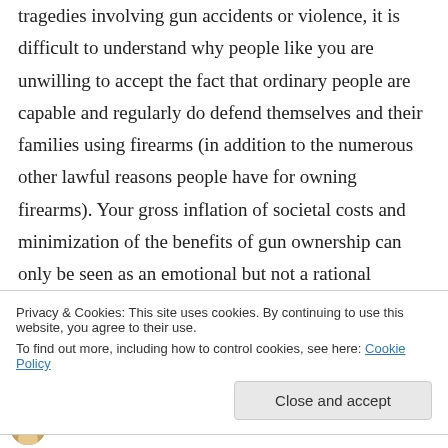tragedies involving gun accidents or violence, it is difficult to understand why people like you are unwilling to accept the fact that ordinary people are capable and regularly do defend themselves and their families using firearms (in addition to the numerous other lawful reasons people have for owning firearms). Your gross inflation of societal costs and minimization of the benefits of gun ownership can only be seen as an emotional but not a rational response to what should be an issue on which people of goodwill share
Privacy & Cookies: This site uses cookies. By continuing to use this website, you agree to their use.
To find out more, including how to control cookies, see here: Cookie Policy
Close and accept
aweisbrot on November 27, 2013 at 9:52 pm